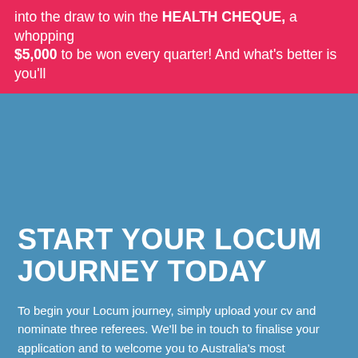into the draw to win the HEALTH CHEQUE, a whopping $5,000 to be won every quarter! And what's better is you'll
START YOUR LOCUM JOURNEY TODAY
To begin your Locum journey, simply upload your cv and nominate three referees. We'll be in touch to finalise your application and to welcome you to Australia's most rewarding Locum agency.